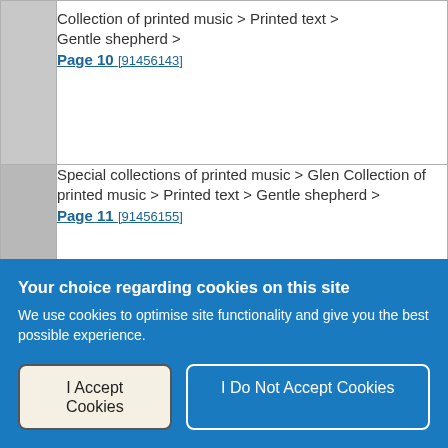| [thumbnail] | Description |
| --- | --- |
|  | Special collections of printed music > Glen Collection of printed music > Printed text > Gentle shepherd > Page 10 [91456143] |
|  | Special collections of printed music > Glen Collection of printed music > Printed text > Gentle shepherd > Page 11 [91456155] |
|  | Special collections of printed music > Glen Collection of printed music > Printed text > Gentle shepherd > |
Your choice regarding cookies on this site
We use cookies to optimise site functionality and give you the best possible experience.
I Accept Cookies
I Do Not Accept Cookies